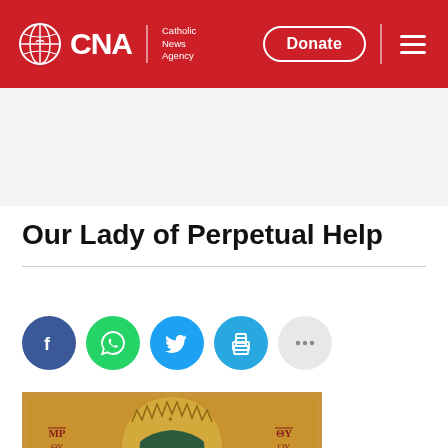CNA - Catholic News Agency | Donate
Our Lady of Perpetual Help
[Figure (illustration): Social share buttons: Facebook (dark blue), WhatsApp (green), Twitter (light blue), Print (blue), More options (gray)]
[Figure (illustration): Bottom portion of the Our Lady of Perpetual Help icon showing golden background with Greek text abbreviations MP and OY, and the image of the Virgin Mary with crown]